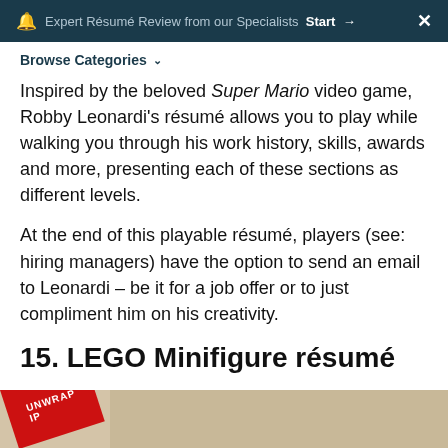Expert Résumé Review from our Specialists  Start →   ×
Browse Categories
Inspired by the beloved Super Mario video game, Robby Leonardi's résumé allows you to play while walking you through his work history, skills, awards and more, presenting each of these sections as different levels.
At the end of this playable résumé, players (see: hiring managers) have the option to send an email to Leonardi – be it for a job offer or to just compliment him on his creativity.
15. LEGO Minifigure résumé
[Figure (photo): Partial image of what appears to be a LEGO minifigure résumé with a red tag in the corner showing text 'UNWRAP']